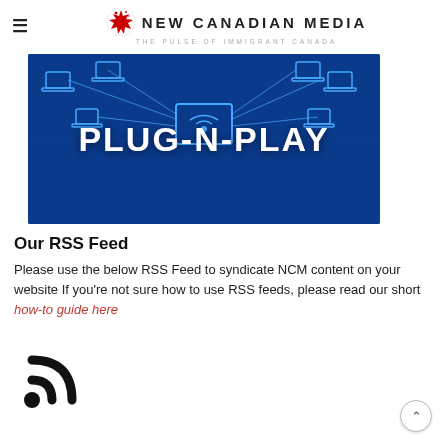NEW CANADIAN MEDIA — THE PULSE OF IMMIGRANT CANADA
[Figure (illustration): Banner image with blue network/laptop diagram background and large white text reading PLUG-N-PLAY]
Our RSS Feed
Please use the below RSS Feed to syndicate NCM content on your website If you're not sure how to use RSS feeds, please read our short how-to guide here
[Figure (illustration): Black RSS feed icon (wifi-style arc with dot at bottom left)]